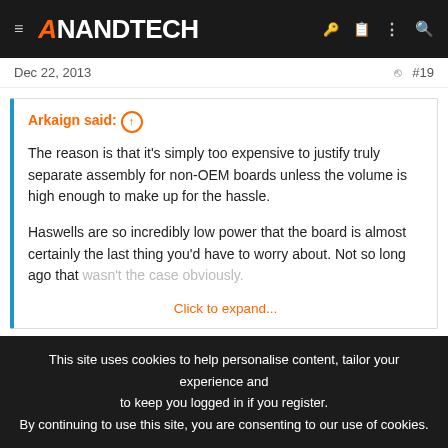AnandTech
Dec 22, 2013  #19
Arkaign said: ↑

The reason is that it's simply too expensive to justify truly separate assembly for non-OEM boards unless the volume is high enough to make up for the hassle.

Haswells are so incredibly low power that the board is almost certainly the last thing you'd have to worry about. Not so long ago that wasn't the case obviously.

Click to expand...
This site uses cookies to help personalise content, tailor your experience and to keep you logged in if you register.
By continuing to use this site, you are consenting to our use of cookies.